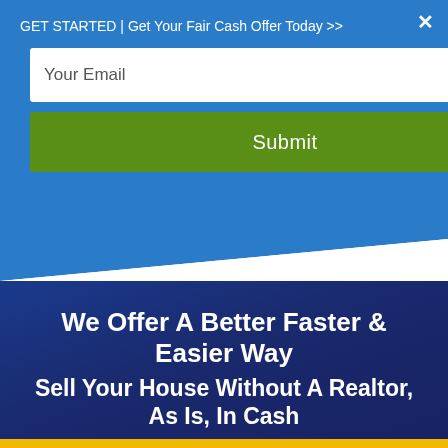GET STARTED | Get Your Fair Cash Offer Today >>
[Figure (screenshot): Email input field with placeholder text 'Your Email' on blue background]
[Figure (screenshot): Green Submit button on blue background]
We Offer A Better Faster & Easier Way
Sell Your House Without A Realtor, As Is, In Cash
Call Us! 912-325-0640